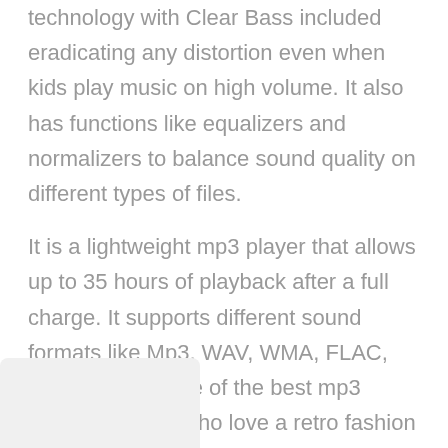technology with Clear Bass included eradicating any distortion even when kids play music on high volume. It also has functions like equalizers and normalizers to balance sound quality on different types of files.
It is a lightweight mp3 player that allows up to 35 hours of playback after a full charge. It supports different sound formats like Mp3, WAV, WMA, FLAC, and APE. It is one of the best mp3 players for kids who love a retro fashion statement.
[Figure (other): Partially visible image placeholder at the bottom left of the page]